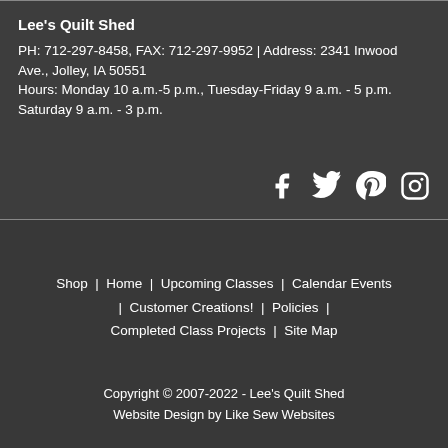Lee's Quilt Shed
PH: 712-297-8458, FAX: 712-297-9952 | Address: 2341 Inwood Ave., Jolley, IA 50551
Hours: Monday 10 a.m.-5 p.m., Tuesday-Friday 9 a.m. - 5 p.m. Saturday 9 a.m. - 3 p.m.
[Figure (infographic): Social media icons: Facebook, Twitter, Pinterest, Instagram]
Shop  |  Home  |  Upcoming Classes  |  Calendar Events  |  Customer Creations!  |  Policies  |  Completed Class Projects  |  Site Map
Copyright © 2007-2022 - Lee's Quilt Shed
Website Design by Like Sew Websites